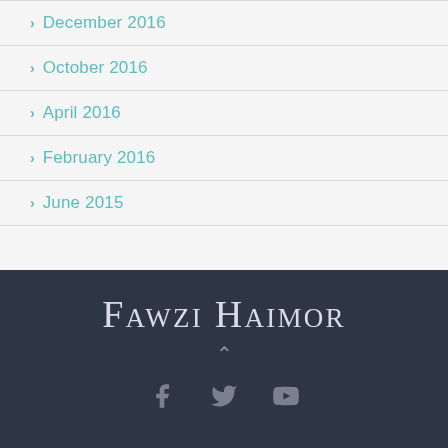> December 2016
> October 2016
> April 2016
> February 2016
> June 2015
Fawzi Haimor
[Figure (other): Social media icons: Facebook, Twitter, YouTube]